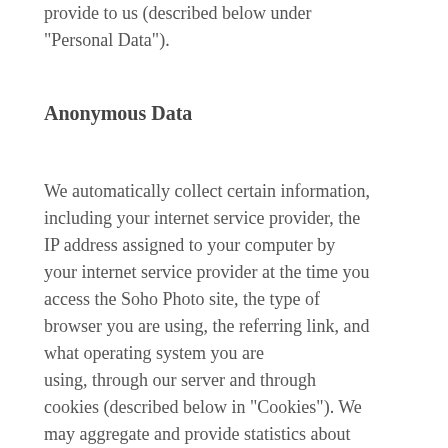provide to us (described below under “Personal Data”).
Anonymous Data
We automatically collect certain information, including your internet service provider, the IP address assigned to your computer by your internet service provider at the time you access the Soho Photo site, the type of browser you are using, the referring link, and what operating system you are using, through our server and through cookies (described below in “Cookies”). We may aggregate and provide statistics about sales, site traffic, and related information to